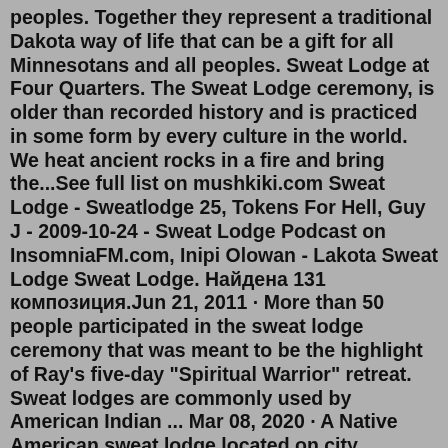peoples. Together they represent a traditional Dakota way of life that can be a gift for all Minnesotans and all peoples. Sweat Lodge at Four Quarters. The Sweat Lodge ceremony, is older than recorded history and is practiced in some form by every culture in the world. We heat ancient rocks in a fire and bring the...See full list on mushkiki.com Sweat Lodge - Sweatlodge 25, Tokens For Hell, Guy J - 2009-10-24 - Sweat Lodge Podcast on InsomniaFM.com, Inipi Olowan - Lakota Sweat Lodge Sweat Lodge. Найдена 131 композиция.Jun 21, 2011 · More than 50 people participated in the sweat lodge ceremony that was meant to be the highlight of Ray's five-day "Spiritual Warrior" retreat. Sweat lodges are commonly used by American Indian ... Mar 08, 2020 · A Native American sweat lodge located on city property in an industrial area of south Fargo, N.D., is pictured on Thursday, Feb. 27, 2020. ... Minnesota and Canada. The nearest sweat lodges are on ... The sweat lodge is in the north end of the meadow. directions to the Center Donations for the Lodge The Center for Peace is a